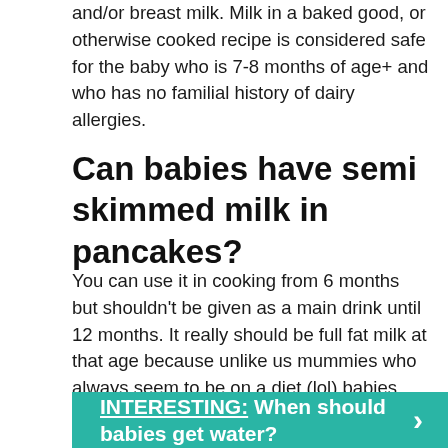and/or breast milk. Milk in a baked good, or otherwise cooked recipe is considered safe for the baby who is 7-8 months of age+ and who has no familial history of dairy allergies.
Can babies have semi skimmed milk in pancakes?
You can use it in cooking from 6 months but shouldn't be given as a main drink until 12 months. It really should be full fat milk at that age because unlike us mummies who always seem to be on a diet (lol) babies need all the calories.
INTERESTING:  When should babies get water?